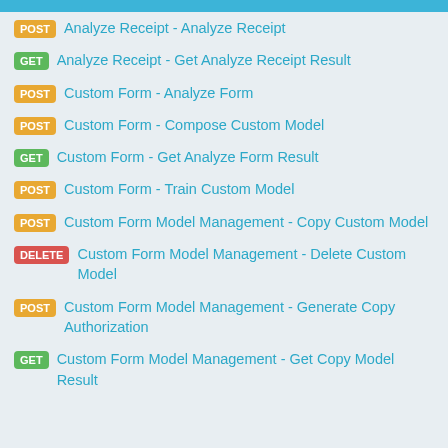POST  Analyze Receipt - Analyze Receipt
GET  Analyze Receipt - Get Analyze Receipt Result
POST  Custom Form - Analyze Form
POST  Custom Form - Compose Custom Model
GET  Custom Form - Get Analyze Form Result
POST  Custom Form - Train Custom Model
POST  Custom Form Model Management - Copy Custom Model
DELETE  Custom Form Model Management - Delete Custom Model
POST  Custom Form Model Management - Generate Copy Authorization
GET  Custom Form Model Management - Get Copy Model Result